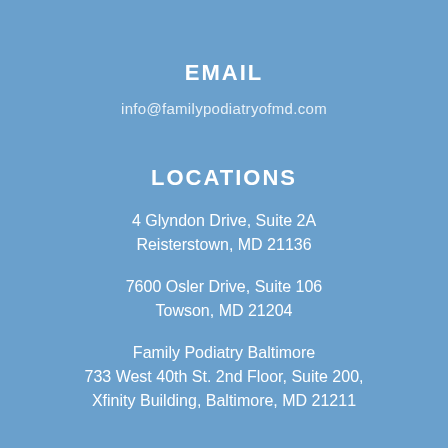EMAIL
info@familypodiatryofmd.com
LOCATIONS
4 Glyndon Drive, Suite 2A
Reisterstown, MD 21136
7600 Osler Drive, Suite 106
Towson, MD 21204
Family Podiatry Baltimore
733 West 40th St. 2nd Floor, Suite 200,
Xfinity Building, Baltimore, MD 21211